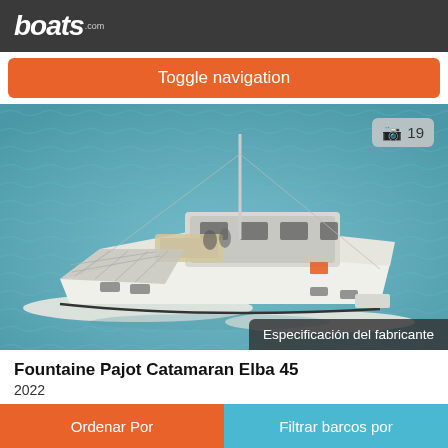boats.com
Toggle navigation
[Figure (photo): Aerial/3D render view of a white Fountaine Pajot Catamaran Elba 45 sailboat on blue-green water, showing deck layout with mast and netting. Badge shows '19' photos. Overlay text: 'Especificación del fabricante']
Fountaine Pajot Catamaran Elba 45
2022
Ordenar Por | Filtrar barcos por